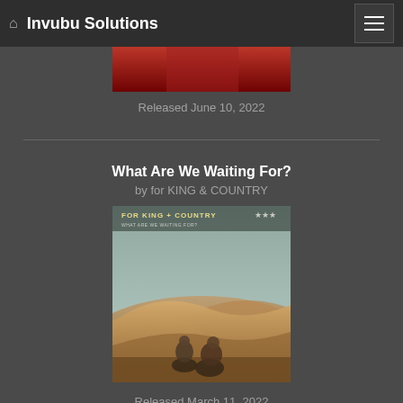Invubu Solutions
[Figure (photo): Partially visible album cover art with red/dark tones at the top of the content area]
Released June 10, 2022
What Are We Waiting For?
by for KING & COUNTRY
[Figure (photo): Album cover for 'What Are We Waiting For?' by For King + Country, showing two men sitting in a desert landscape with sand dunes. Text reads 'FOR KING + COUNTRY' and 'WHAT ARE WE WAITING FOR?' with star symbols on a teal/sage green background.]
Released March 11, 2022